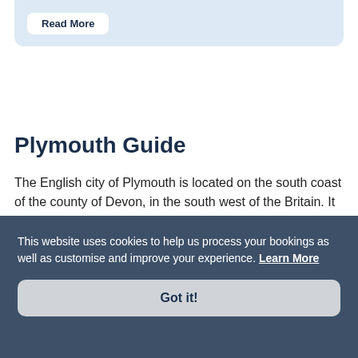Read More
Plymouth Guide
The English city of Plymouth is located on the south coast of the county of Devon, in the south west of the Britain. It is around 300 km to the south west of London and is located between the mouths of the River Plym and the River Tamar
This website uses cookies to help us process your bookings as well as customise and improve your experience. Learn More
Got it!